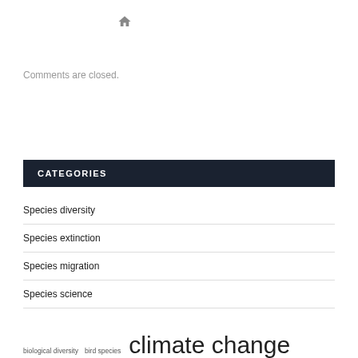[Figure (other): Home icon (house symbol) in gray]
Comments are closed.
CATEGORIES
Species diversity
Species extinction
Species migration
Species science
biological diversity   bird species   climate change